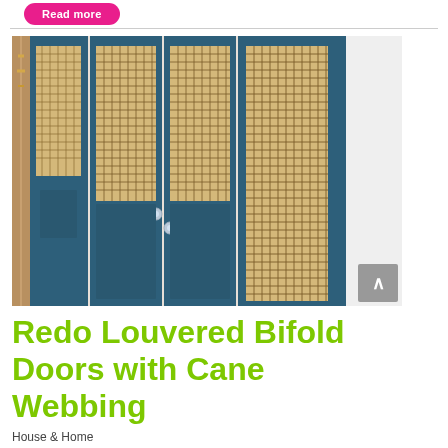Read more
[Figure (photo): Blue bifold closet doors with cane webbing inserts replacing louvered panels. Four door panels visible, painted in dark navy/teal blue with natural rattan/cane webbing inserts. Small crystal or glass knobs visible on two of the doors. Yellow macrame visible on the left side.]
Redo Louvered Bifold Doors with Cane Webbing
House & Home